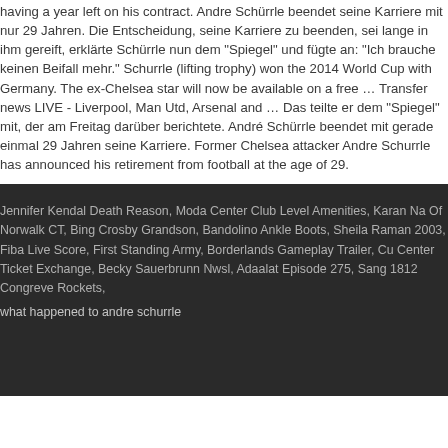having a year left on his contract. Andre Schürrle beendet seine Karriere mit nur 29 Jahren. Die Entscheidung, seine Karriere zu beenden, sei lange in ihm gereift, erklärte Schürrle nun dem "Spiegel" und fügte an: "Ich brauche keinen Beifall mehr." Schurrle (lifting trophy) won the 2014 World Cup with Germany. The ex-Chelsea star will now be available on a free … Transfer news LIVE - Liverpool, Man Utd, Arsenal and … Das teilte er dem "Spiegel" mit, der am Freitag darüber berichtete. André Schürrle beendet mit gerade einmal 29 Jahren seine Karriere. Former Chelsea attacker Andre Schurrle has announced his retirement from football at the age of 29.
Jennifer Kendal Death Reason, Moda Center Club Level Amenities, Karan Na Of Norwalk CT, Bing Crosby Grandson, Bandolino Ankle Boots, Sheila Raman 2003, Fiba Live Score, First Standing Army, Borderlands Gameplay Trailer, Cu Center Ticket Exchange, Becky Sauerbrunn Nwsl, Adaalat Episode 275, Sang 1812 Congreve Rockets,
what happened to andre schurrle